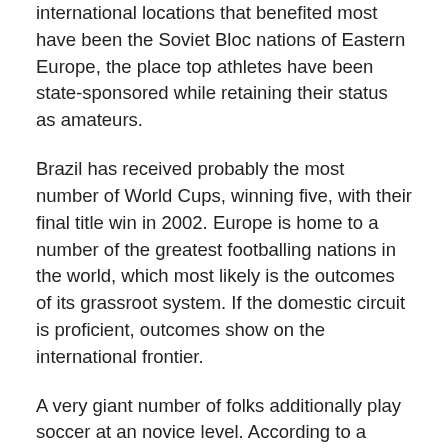international locations that benefited most have been the Soviet Bloc nations of Eastern Europe, the place top athletes have been state-sponsored while retaining their status as amateurs.
Brazil has received probably the most number of World Cups, winning five, with their final title win in 2002. Europe is home to a number of the greatest footballing nations in the world, which most likely is the outcomes of its grassroot system. If the domestic circuit is proficient, outcomes show on the international frontier.
A very giant number of folks additionally play soccer at an novice level. According to a survey performed by FIFA published in 2001, over 240 million people from more than 200 international locations regularly play football. Football has the best international tv viewers in sport. This area is marked by the aim line, two traces beginning on the goal line sixteen.5 m from the goalposts and lengthening 16.5 m into the pitch perpendicular to the objective line, and a line becoming a